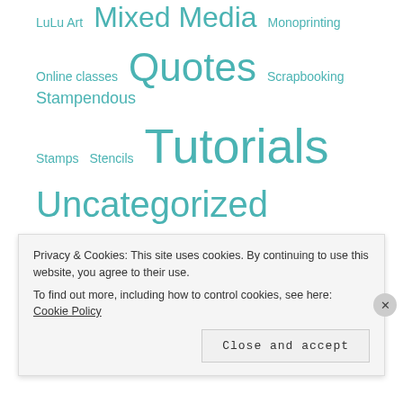LuLu Art  Mixed Media  Monoprinting  Online classes  Quotes  Scrapbooking  Stampendous  Stamps  Stencils  Tutorials  Uncategorized
- Recent Comments -
Mazz on Let's get dotty ….
Robyn Wood on It's Time to Dream Big
Privacy & Cookies: This site uses cookies. By continuing to use this website, you agree to their use. To find out more, including how to control cookies, see here: Cookie Policy
Close and accept